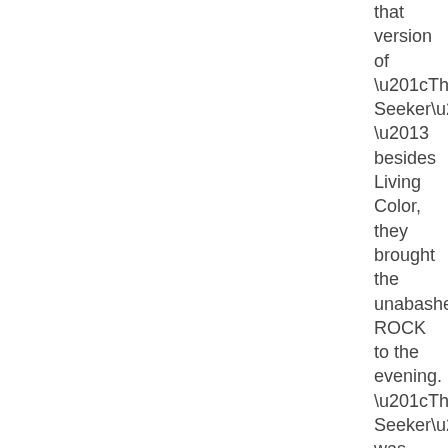that version of “The Seeker” – besides Living Color, they brought the unabashed ROCK to the evening. “The Seeker” was good, it was fine, it was even great